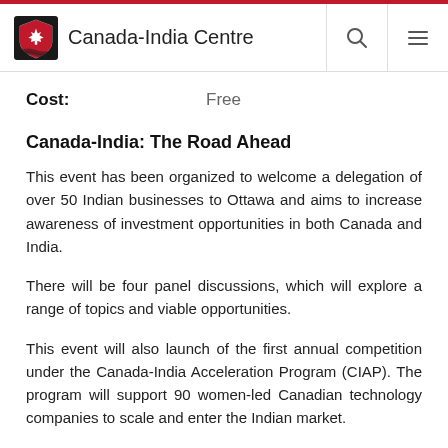Canada-India Centre
Cost: Free
Canada-India: The Road Ahead
This event has been organized to welcome a delegation of over 50 Indian businesses to Ottawa and aims to increase awareness of investment opportunities in both Canada and India.
There will be four panel discussions, which will explore a range of topics and viable opportunities.
This event will also launch of the first annual competition under the Canada-India Acceleration Program (CIAP). The program will support 90 women-led Canadian technology companies to scale and enter the Indian market.